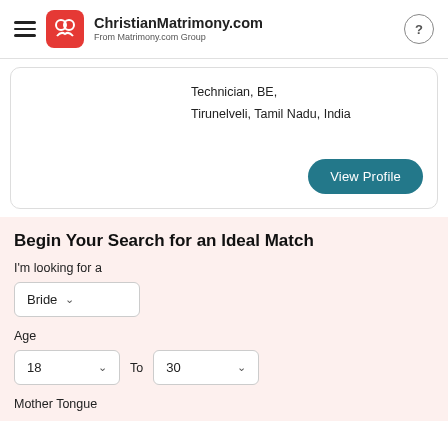ChristianMatrimony.com — From Matrimony.com Group
Technician, BE,
Tirunelveli, Tamil Nadu, India
View Profile
Begin Your Search for an Ideal Match
I'm looking for a
Bride
Age
18  To  30
Mother Tongue